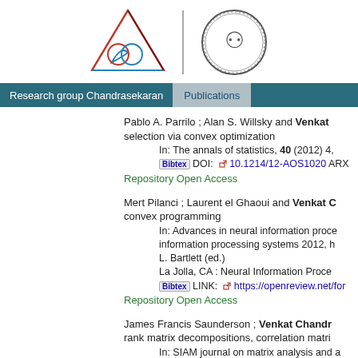[Figure (logo): Two institutional logos: a geometric triangle/circle logo in red and blue on the left, and a circular medallion with a portrait on the right, separated by a vertical line.]
Research group Chandrasekaran   Publications
Pablo A. Parrilo ; Alan S. Willsky and Venkat ... selection via convex optimization
    In: The annals of statistics, 40 (2012) 4,
    Bibtex DOI: 10.1214/12-AOS1020 ARX...
Repository Open Access
Mert Pilanci ; Laurent el Ghaoui and Venkat ... convex programming
    In: Advances in neural information proce... information processing systems 2012, h... L. Bartlett (ed.)
    La Jolla, CA : Neural Information Proce...
    Bibtex LINK: https://openreview.net/for...
Repository Open Access
James Francis Saunderson ; Venkat Chandr... rank matrix decompositions, correlation matri...
    In: SIAM journal on matrix analysis and ...
    Bibtex DOI: 10.1137/120872516 ARXIV...
Repository Open Access